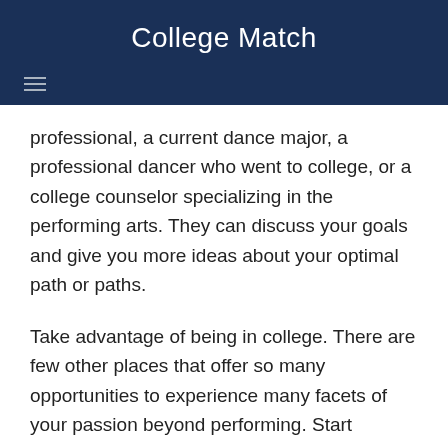College Match
professional, a current dance major, a professional dancer who went to college, or a college counselor specializing in the performing arts. They can discuss your goals and give you more ideas about your optimal path or paths.
Take advantage of being in college. There are few other places that offer so many opportunities to experience many facets of your passion beyond performing. Start